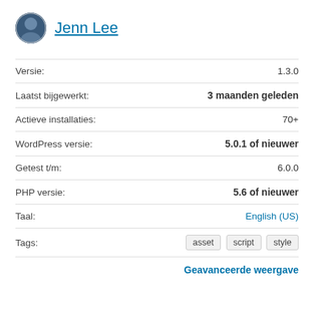[Figure (photo): Circular avatar photo of Jenn Lee]
Jenn Lee
| Label | Value |
| --- | --- |
| Versie: | 1.3.0 |
| Laatst bijgewerkt: | 3 maanden geleden |
| Actieve installaties: | 70+ |
| WordPress versie: | 5.0.1 of nieuwer |
| Getest t/m: | 6.0.0 |
| PHP versie: | 5.6 of nieuwer |
| Taal: | English (US) |
| Tags: | asset  script  style |
Geavanceerde weergave